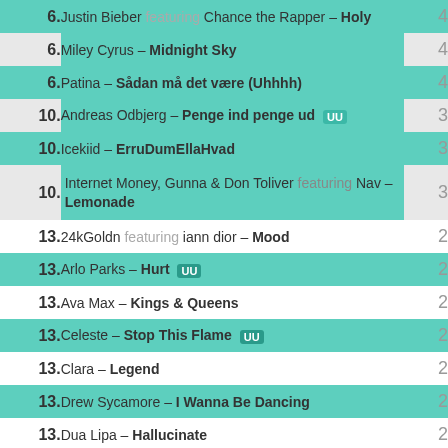| Rank | Artist – Song | Count |
| --- | --- | --- |
| 6. | Justin Bieber featuring Chance the Rapper – Holy | 4 |
| 6. | Miley Cyrus – Midnight Sky | 4 |
| 6. | Patina – Sådan må det være (Uhhhh) | 4 |
| 10. | Andreas Odbjerg – Penge ind penge ud [UU] | 3 |
| 10. | Icekiid – ErruDumEllaHvad | 3 |
| 10. | Internet Money, Gunna & Don Toliver featuring Nav – Lemonade | 3 |
| 13. | 24kGoldn featuring iann dior – Mood | 2 |
| 13. | Arlo Parks – Hurt [UU] | 2 |
| 13. | Ava Max – Kings & Queens | 2 |
| 13. | Celeste – Stop This Flame [UU] | 2 |
| 13. | Clara – Legend | 2 |
| 13. | Drew Sycamore – I Wanna Be Dancing | 2 |
| 13. | Dua Lipa – Hallucinate | 2 |
| 13. | Fool – Kids | 2 |
| 13. | FVN – Work | 2 |
| 13. | Fyr & Flamme – Menneskeforbruger [UU] | 2 |